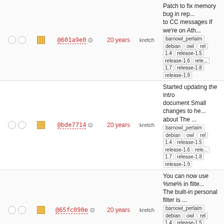@601a9e0 | 20 years | kretch | Patch to fix memory bug in rep... to CC messages If we're on Ath... | barnowl_perlaim debian owl rel 1.4 release-1.5 release-1.6 rele... 1.7 release-1.8 release-1.9
@bde7714 | 20 years | kretch | Started updating the intro document Small changes to he... about The ... | barnowl_perlaim debian owl rel 1.4 release-1.5 release-1.6 rele... 1.7 release-1.8 release-1.9
@65fc090e | 20 years | kretch | You can now use %me% in filt... The built-in personal filter is ... | barnowl_perlaim debian owl rel 1.4 release-1.5 release-1.6 rele... 1.7 release-1.8 release-1.9
@aa2f33b3 | 20 years | nygren | Variables now have a summary... and a long description. Only ... | barnowl_perlaim debian owl rel 1.4 release-1.5 release-1.6 rele... 1.7 release-1.8 release-1.9
@6794f72 | 20 years | kretch | Refixed 'login or login' typo in h... Fixed M-u description Remove... | barnowl_perlaim debian owl rel 1.4 release-1.5 release-1.6 rele... 1.7 release-1.8 release-1.9
@1aee7d9 | 20 years | nygren | * Added RCS Id strings to all fil... 'show keymaps' shows details... | barnowl_perlaim debian owl rel 1.4 release-1.5 release-1.6 rele... 1.7 release-1.8 release-1.9
Initial check in | barnowl_perlaim debian owl...